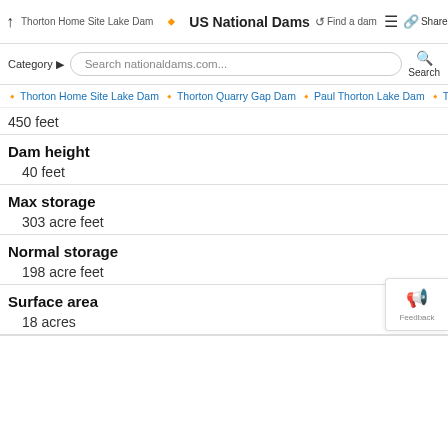Thorton Home Site Lake Dam | US National Dams | Find a dam | Share
Category | Search nationaldams.com... | Search
Thorton Home Site Lake Dam | Thorton Quarry Gap Dam | Paul Thorton Lake Dam | Thornto
450 feet
Dam height
40 feet
Max storage
303 acre feet
Normal storage
198 acre feet
Surface area
18 acres